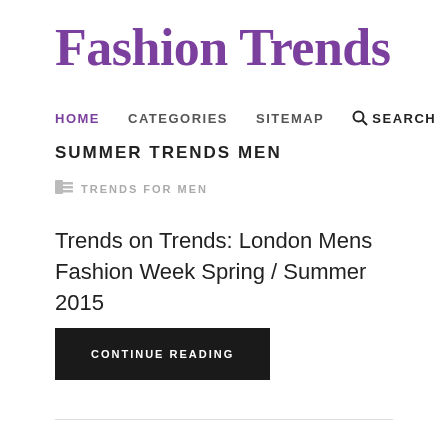Fashion Trends
HOME   CATEGORIES   SITEMAP   SEARCH
SUMMER TRENDS MEN
TRENDS FOR MEN
Trends on Trends: London Mens Fashion Week Spring / Summer 2015
CONTINUE READING